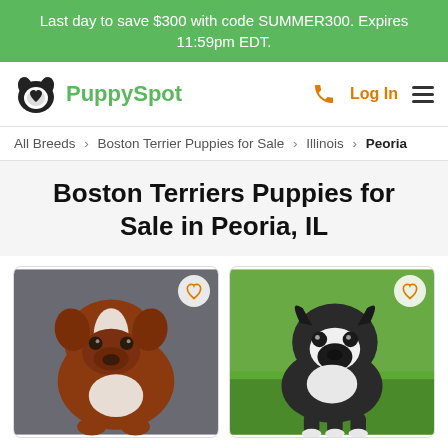Last day to save $300 with code SUMMER300. Expires 11:59pm EDT.
[Figure (logo): PuppySpot logo with dog paw/heart icon and green PuppySpot wordmark, plus phone icon, Log In, and hamburger menu on the right]
All Breeds › Boston Terrier Puppies for Sale › Illinois › Peoria
Boston Terriers Puppies for Sale in Peoria, IL
[Figure (photo): Photo of a brown and white Boston Terrier puppy on a gray background, with an orange heart/favorite icon in the top right corner]
[Figure (photo): Photo of a black and white Boston Terrier puppy standing on green grass, with an orange heart/favorite icon in the top right corner]